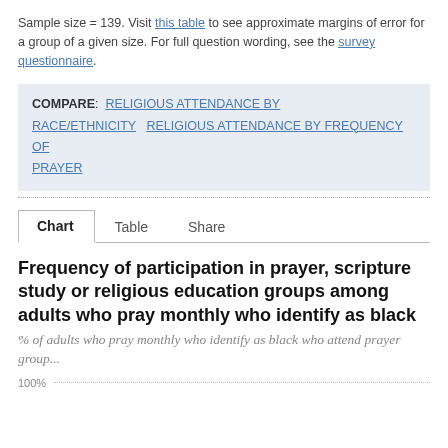Sample size = 139. Visit this table to see approximate margins of error for a group of a given size. For full question wording, see the survey questionnaire.
COMPARE: RELIGIOUS ATTENDANCE BY RACE/ETHNICITY   RELIGIOUS ATTENDANCE BY FREQUENCY OF PRAYER
Frequency of participation in prayer, scripture study or religious education groups among adults who pray monthly who identify as black
% of adults who pray monthly who identify as black who attend prayer group...
[Figure (bar-chart): Partial bar chart visible, showing 100% gridline at bottom of visible area]